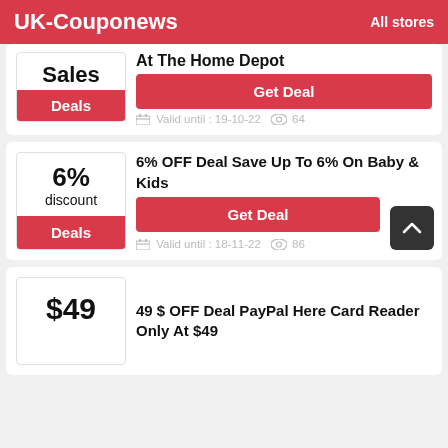UK-Couponews   All stores
Sales
At The Home Depot
Get Deal
Valid until : 19-10-22   64
6%
discount
6% OFF Deal Save Up To 6% On Baby & Kids
Get Deal
Valid until : 18-11-22   86
$49
49 $ OFF Deal PayPal Here Card Reader Only At $49